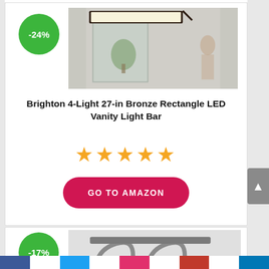[Figure (other): Green discount badge showing -24%]
[Figure (photo): Brighton 4-Light 27-in Bronze Rectangle LED Vanity Light Bar product photo showing a rectangular LED bar mounted above a mirror in a bathroom setting]
Brighton 4-Light 27-in Bronze Rectangle LED Vanity Light Bar
[Figure (other): 5 gold star rating]
GO TO AMAZON
[Figure (other): Green discount badge showing -17%]
[Figure (photo): Partial view of a second product - a brushed nickel vanity light fixture with gooseneck arms]